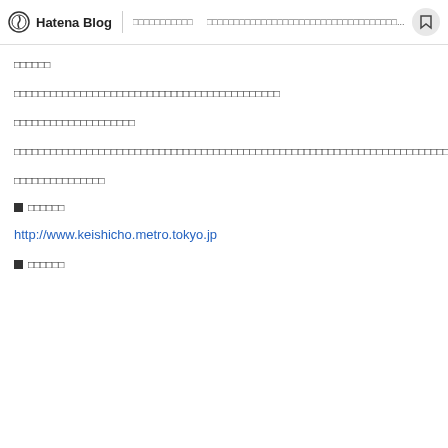Hatena Blog | □□□□□□□□□□□ □□□□□□□□□□□□□□□□□□□□□□□□□□□□...
□□□□□□
□□□□□□□□□□□□□□□□□□□□□□□□□□□□□□□□□□□□□□□□□□□□
□□□□□□□□□□□□□□□□□□□□
□□□□□□□□□□□□□□□□□□□□□□□□□□□□□□□□□□□□□□□□□□□□□□□□□□□□□□□□□□□□□□□□□□□□□□□□□□
□□□□□□□□□□□□□□□
■□□□□□□
http://www.keishicho.metro.tokyo.jp
■□□□□□□